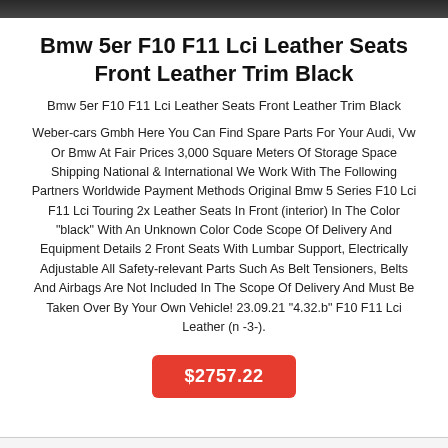[Figure (photo): Dark/black photo banner at top of page]
Bmw 5er F10 F11 Lci Leather Seats Front Leather Trim Black
Bmw 5er F10 F11 Lci Leather Seats Front Leather Trim Black
Weber-cars Gmbh Here You Can Find Spare Parts For Your Audi, Vw Or Bmw At Fair Prices 3,000 Square Meters Of Storage Space Shipping National & International We Work With The Following Partners Worldwide Payment Methods Original Bmw 5 Series F10 Lci F11 Lci Touring 2x Leather Seats In Front (interior) In The Color "black" With An Unknown Color Code Scope Of Delivery And Equipment Details 2 Front Seats With Lumbar Support, Electrically Adjustable All Safety-relevant Parts Such As Belt Tensioners, Belts And Airbags Are Not Included In The Scope Of Delivery And Must Be Taken Over By Your Own Vehicle! 23.09.21 "4.32.b" F10 F11 Lci Leather (n -3-).
$2757.22